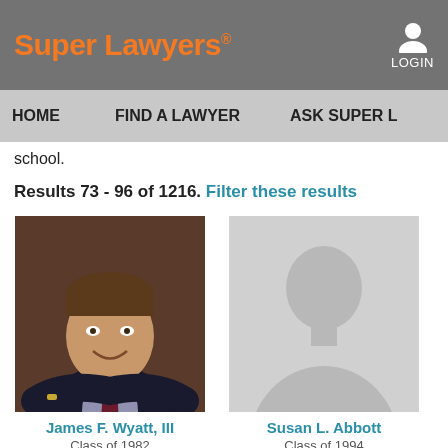Super Lawyers® LOGIN
HOME  FIND A LAWYER  ASK SUPER L
school.
Results 73 - 96 of 1216. Filter these results
[Figure (photo): Professional headshot of James F. Wyatt, III - a man in a dark suit with arms crossed, smiling]
James F. Wyatt, III
Class of 1982
[Figure (illustration): Generic silhouette placeholder image for Susan L. Abbott]
Susan L. Abbott
Class of 1994